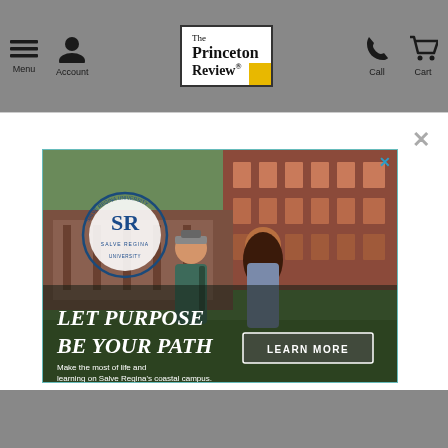Menu | Account | The Princeton Review | Call | Cart
[Figure (screenshot): Princeton Review website with popup modal showing Salve Regina University advertisement. Ad shows two students walking on campus with text 'LET PURPOSE BE YOUR PATH', a LEARN MORE button, and caption 'Make the most of life and learning on Salve Regina's coastal campus.' The modal has a close X button and the ad has a blue X close button.]
[Figure (other): Social media icons: Facebook, Twitter, and email at bottom of page]